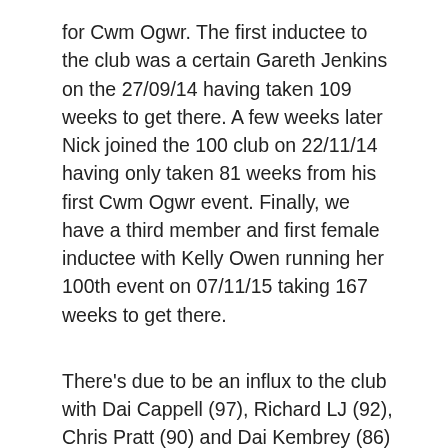for Cwm Ogwr. The first inductee to the club was a certain Gareth Jenkins on the 27/09/14 having taken 109 weeks to get there. A few weeks later Nick joined the 100 club on 22/11/14 having only taken 81 weeks from his first Cwm Ogwr event. Finally, we have a third member and first female inductee with Kelly Owen running her 100th event on 07/11/15 taking 167 weeks to get there.
There's due to be an influx to the club with Dai Cappell (97), Richard LJ (92), Chris Pratt (90) and Dai Kembrey (86) all likely to join in the next couple of months. Chris is likely to smash the record for quickest to reach the target as well as he's likely to achieve it just 60 weeks after his first event with us.